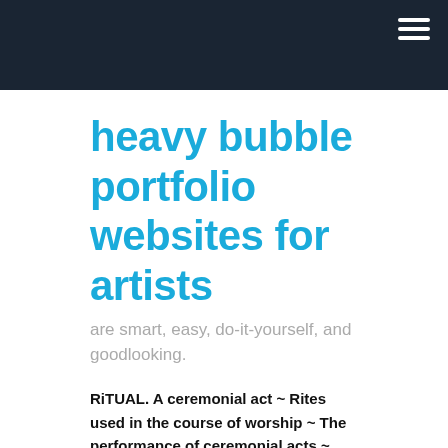heavy bubble portfolio websites for artists
are smart, easy, do-it-yourself, and goodlooking.
RiTUAL. A ceremonial act ~ Rites used in the course of worship ~ The performance of ceremonial acts ~ The prescribed form of conducting the ceremony ~ A method of procedure that is followed without variation ~ performance with gestures, words, and objects, often in a sequestered place.